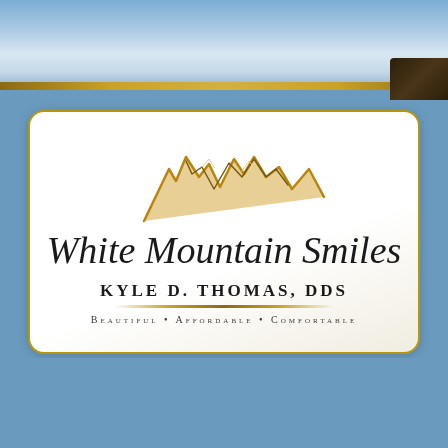[Figure (logo): White Mountain Smiles dental practice logo. Features a stylized golden mountain peak illustration above cursive script text 'White Mountain Smiles', with 'Kyle D. Thomas, DDS' in spaced serif caps below, a gold underline, and tagline 'Beautiful • Affordable • Comfortable' in small caps. Logo is on a white rounded-rectangle card with gold border, set against a steel blue background with a sky/cloud header at top.]